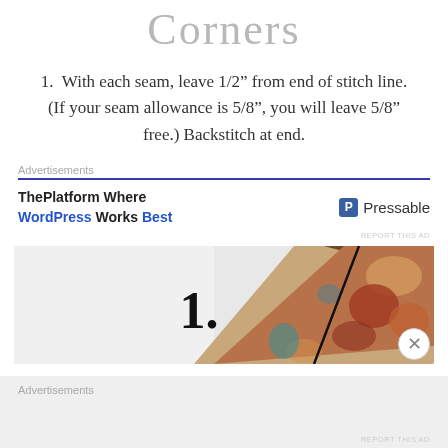Corners
1.  With each seam, leave 1/2" from end of stitch line. (If your seam allowance is 5/8", you will leave 5/8" free.) Backstitch at end.
Advertisements
[Figure (infographic): Advertisement banner: ThePlatform Where WordPress Works Best | Pressable logo]
REPORT THIS AD
[Figure (photo): Photo showing fabric corner being sewn, with large number 1. overlaid, close button X in bottom right corner]
Advertisements
REPORT THIS AD